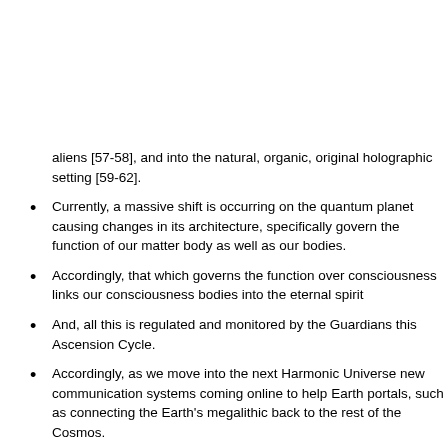aliens [57-58], and into the natural, organic, original holographic setting [59-62].
Currently, a massive shift is occurring on the quantum planet causing changes in its architecture, specifically govern the function of our matter body as well as our bodies.
Accordingly, that which governs the function over consciousness links our consciousness bodies into the eternal spirit
And, all this is regulated and monitored by the Guardians this Ascension Cycle.
Accordingly, as we move into the next Harmonic Universe new communication systems coming online to help Earth portals, such as connecting the Earth's megalithic back to the rest of the Cosmos.
And, the Dark Matter Template Body that governs the